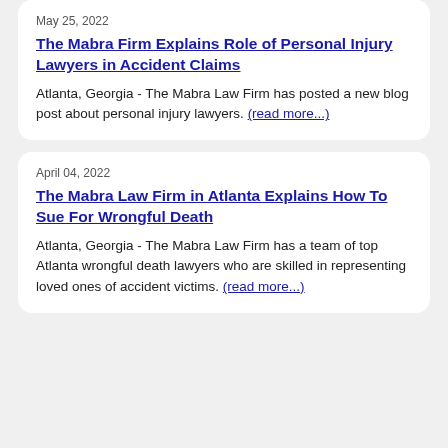May 25, 2022
The Mabra Firm Explains Role of Personal Injury Lawyers in Accident Claims
Atlanta, Georgia - The Mabra Law Firm has posted a new blog post about personal injury lawyers. (read more...)
April 04, 2022
The Mabra Law Firm in Atlanta Explains How To Sue For Wrongful Death
Atlanta, Georgia - The Mabra Law Firm has a team of top Atlanta wrongful death lawyers who are skilled in representing loved ones of accident victims. (read more...)